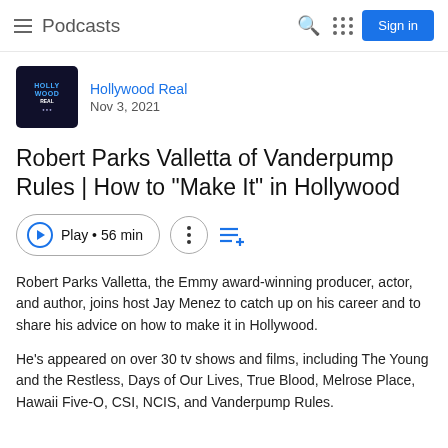Podcasts
Hollywood Real
Nov 3, 2021
Robert Parks Valletta of Vanderpump Rules | How to "Make It" in Hollywood
Play • 56 min
Robert Parks Valletta, the Emmy award-winning producer, actor, and author, joins host Jay Menez to catch up on his career and to share his advice on how to make it in Hollywood.
He's appeared on over 30 tv shows and films, including The Young and the Restless, Days of Our Lives, True Blood, Melrose Place, Hawaii Five-O, CSI, NCIS, and Vanderpump Rules.